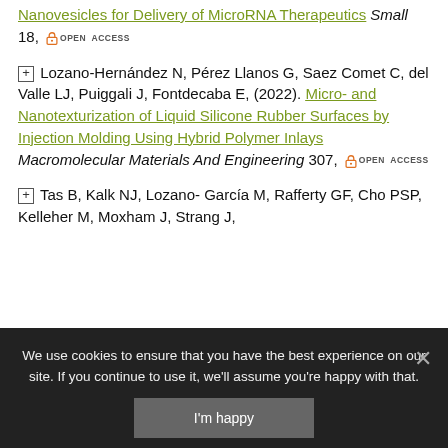Nanovesicles for Delivery of MicroRNA Therapeutics Small 18, [OPEN ACCESS]
Lozano-Hernández N, Pérez Llanos G, Saez Comet C, del Valle LJ, Puiggali J, Fontdecaba E, (2022). Micro- and Nanotexturization of Liquid Silicone Rubber Surfaces by Injection Molding Using Hybrid Polymer Inlays Macromolecular Materials And Engineering 307, [OPEN ACCESS]
Tas B, Kalk NJ, Lozano- García M, Rafferty GF, Cho PSP, Kelleher M, Moxham J, Strang J...
We use cookies to ensure that you have the best experience on our site. If you continue to use it, we'll assume you're happy with that.